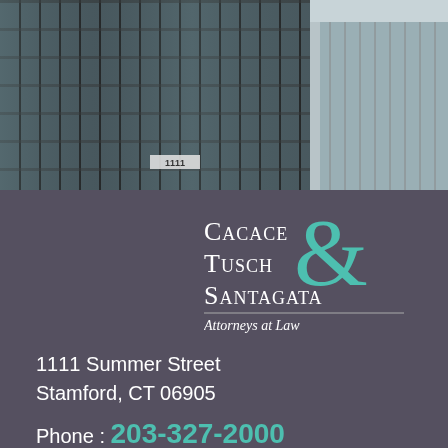[Figure (photo): Exterior photo of a modern office building with glass and steel facade, showing the address number 1111 on the building]
[Figure (logo): Cacace Tusch & Santagata Attorneys at Law law firm logo with decorative teal ampersand and white text on dark gray background]
1111 Summer Street
Stamford, CT 06905
Phone : 203-327-2000